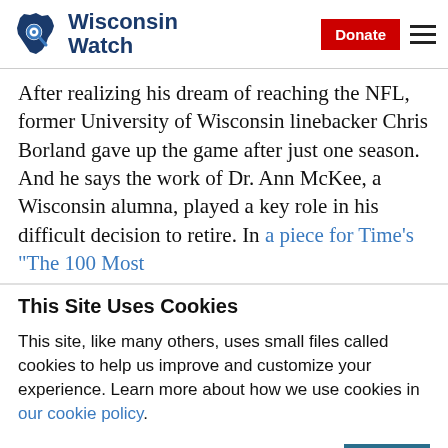Wisconsin Watch | Donate
After realizing his dream of reaching the NFL, former University of Wisconsin linebacker Chris Borland gave up the game after just one season. And he says the work of Dr. Ann McKee, a Wisconsin alumna, played a key role in his difficult decision to retire. In a piece for Time's “The 100 Most
This Site Uses Cookies
This site, like many others, uses small files called cookies to help us improve and customize your experience. Learn more about how we use cookies in our cookie policy.
OK